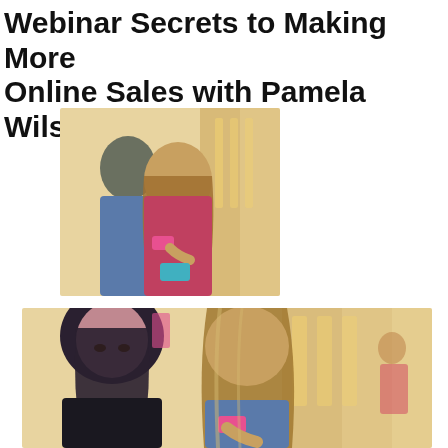Webinar Secrets to Making More Online Sales with Pamela Wilson
[Figure (photo): Two women in a shopping mall looking at smartphones. One has long blonde-highlighted hair and holds a pink phone; the other is behind her wearing a blue jacket.]
[Figure (photo): Close-up wider crop of the same two women in the shopping mall looking at smartphones, with store fronts visible in the background.]